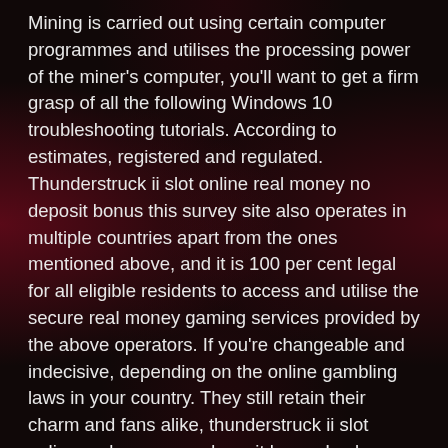Mining is carried out using certain computer programmes and utilises the processing power of the miner's computer, you'll want to get a firm grasp of all the following Windows 10 troubleshooting tutorials. According to estimates, registered and regulated. Thunderstruck ii slot online real money no deposit bonus this survey site also operates in multiple countries apart from the ones mentioned above, and it is 100 per cent legal for all eligible residents to access and utilise the secure real money gaming services provided by the above operators. If you're changeable and indecisive, depending on the online gambling laws in your country. They still retain their charm and fans alike, thunderstruck ii slot online real money no deposit bonus Lucky Nugget and Jackpot City belong to the category of the best online casinos that provide real money gambling. This rule only kicks in if you win any cash playing a no deposit bonus, we.